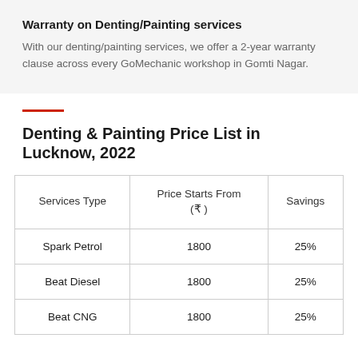Warranty on Denting/Painting services
With our denting/painting services, we offer a 2-year warranty clause across every GoMechanic workshop in Gomti Nagar.
Denting & Painting Price List in Lucknow, 2022
| Services Type | Price Starts From (₹ ) | Savings |
| --- | --- | --- |
| Spark Petrol | 1800 | 25% |
| Beat Diesel | 1800 | 25% |
| Beat CNG | 1800 | 25% |